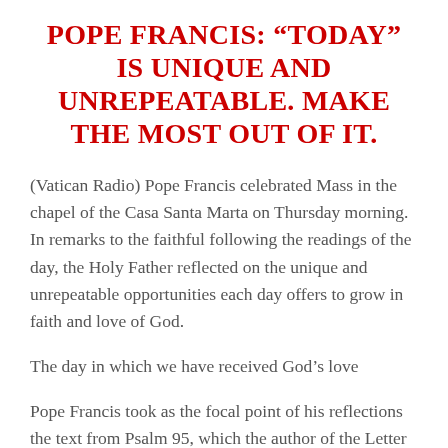POPE FRANCIS: “TODAY” IS UNIQUE AND UNREPEATABLE. MAKE THE MOST OUT OF IT.
(Vatican Radio) Pope Francis celebrated Mass in the chapel of the Casa Santa Marta on Thursday morning. In remarks to the faithful following the readings of the day, the Holy Father reflected on the unique and unrepeatable opportunities each day offers to grow in faith and love of God.
The day in which we have received God’s love
Pope Francis took as the focal point of his reflections the text from Psalm 95, which the author of the Letter to the Hebrews t...